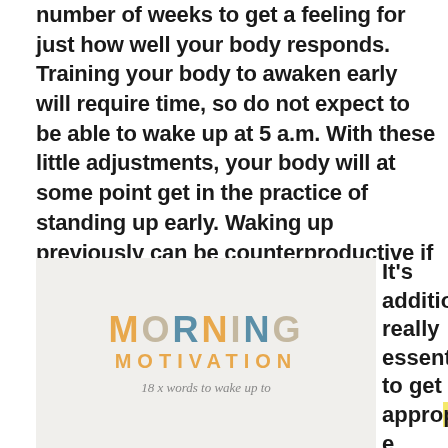number of weeks to get a feeling for just how well your body responds. Training your body to awaken early will require time, so do not expect to be able to wake up at 5 a.m. With these little adjustments, your body will at some point get in the practice of standing up early. Waking up previously can be counterproductive if you get just a few hrs of rest the evening prior to.
[Figure (illustration): Morning Motivation card with colorful letters spelling MORNING MOTIVATION with subtitle '18 x words to wake up to' on a light beige background]
It's additionally really essential to get appropriate sleep every